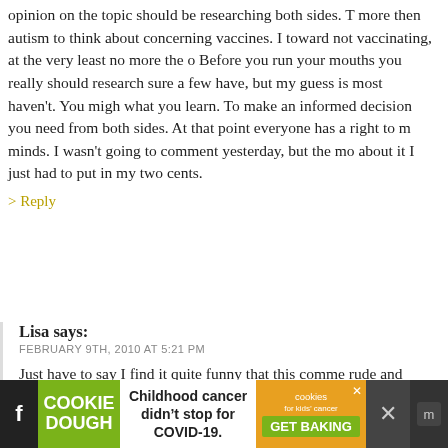opinion on the topic should be researching both sides. There is more then autism to think about concerning vaccines. I lean toward not vaccinating, at the very least no more the o... Before you run your mouths you really should research sure a few have, but my guess is most haven't. You migh... what you learn. To make an informed decision you need from both sides. At that point everyone has a right to m... minds. I wasn't going to comment yesterday, but the mo... about it I just had to put in my two cents.
> Reply
Lisa says:
FEBRUARY 9TH, 2010 AT 5:21 PM

Just have to say I find it quite funny that this comme... rude and judgemental, while being extremely rude ar... Telling people not to "run their mouths?" Rude.

> Reply
[Figure (infographic): Advertisement banner: Cookie Dough brand ad with 'Childhood cancer didn't stop for COVID-19.' and 'cookies for kids cancer GET BAKING' button. Social media icons on sides. Black background.]